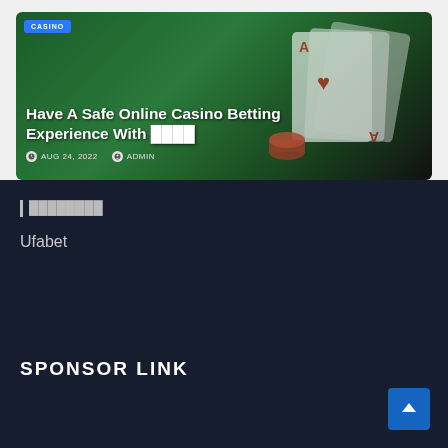[Figure (photo): Blog post card with casino playing cards background image on green felt table surface with red poker chips]
Have A Safe Online Casino Betting Experience With ████
AUG 24, 2022  ADMIN
████████
Ufabet
SPONSOR LINK